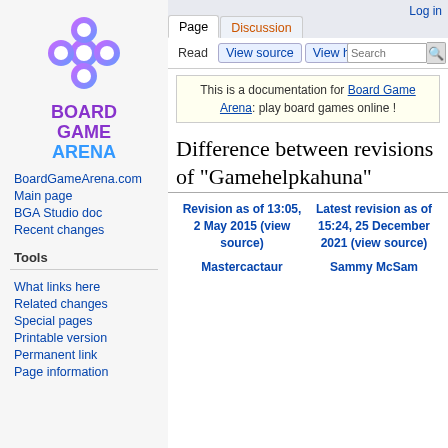[Figure (logo): Board Game Arena logo: a purple-blue gradient flower/cross shape made of circles, with text BOARD GAME ARENA below in purple and blue]
BoardGameArena.com
Main page
BGA Studio doc
Recent changes
Tools
What links here
Related changes
Special pages
Printable version
Permanent link
Page information
Log in
Page | Discussion
Read | View source | View history | Search
This is a documentation for Board Game Arena: play board games online !
Difference between revisions of "Gamehelpkahuna"
| Revision as of 13:05, 2 May 2015 (view source) | Latest revision as of 15:24, 25 December 2021 (view source) |
| --- | --- |
| Mastercactaur | Sammy McSam |